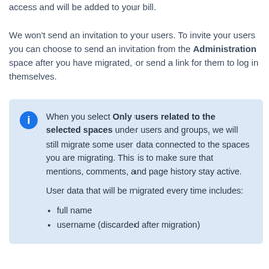access and will be added to your bill. We won't send an invitation to your users. To invite your users you can choose to send an invitation from the Administration space after you have migrated, or send a link for them to log in themselves.
When you select Only users related to the selected spaces under users and groups, we will still migrate some user data connected to the spaces you are migrating. This is to make sure that mentions, comments, and page history stay active.

User data that will be migrated every time includes:
- full name
- username (discarded after migration)